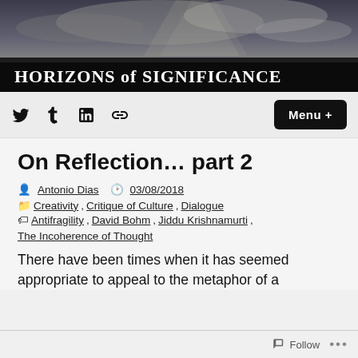[Figure (photo): Website banner for 'Horizons of Significance' blog showing a dark dramatic sky landscape with the text 'HORIZONS of SIGNIFICANCE' in white serif font on a dark overlay bar.]
Social media icons (Twitter, Tumblr, LinkedIn, Link) and Menu + button
On Reflection… part 2
Antonio Dias  03/08/2018
Creativity, Critique of Culture, Dialogue
Antifragility, David Bohm, Jiddu Krishnamurti, The Incoherence of Thought
There have been times when it has seemed appropriate to appeal to the metaphor of a
Follow  ...